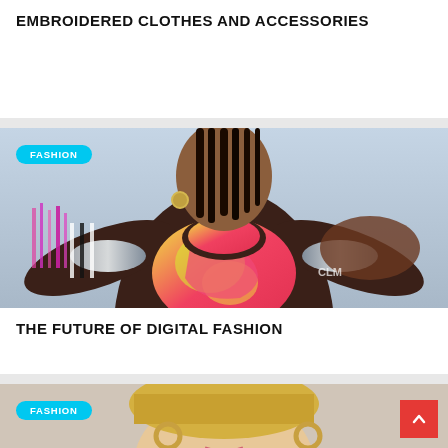EMBROIDERED CLOTHES AND ACCESSORIES
[Figure (photo): Fashion photo of a person wearing a colorful digital/futuristic outfit with pink, yellow, and silver elements, with a FASHION tag overlay]
THE FUTURE OF DIGITAL FASHION
[Figure (photo): Partial fashion photo of a person with gold hoop earrings and blonde hair, with a FASHION tag overlay and a red back-to-top button]